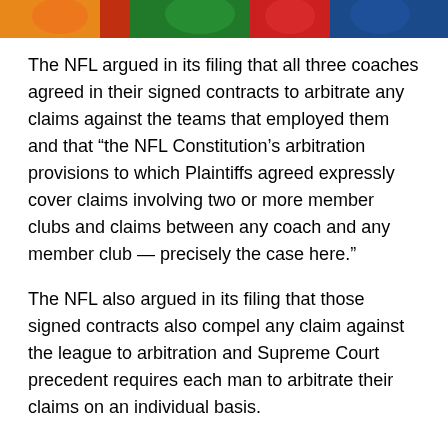[Figure (illustration): Partial image strip at top of page showing NFL-related cartoon/illustration with orange, red, green, and red colors]
The NFL argued in its filing that all three coaches agreed in their signed contracts to arbitrate any claims against the teams that employed them and that “the NFL Constitution’s arbitration provisions to which Plaintiffs agreed expressly cover claims involving two or more member clubs and claims between any coach and any member club — precisely the case here.”
The NFL also argued in its filing that those signed contracts also compel any claim against the league to arbitration and Supreme Court precedent requires each man to arbitrate their claims on an individual basis.